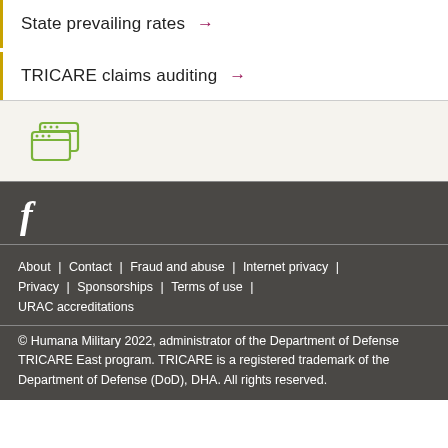State prevailing rates →
TRICARE claims auditing →
[Figure (illustration): Green browser/window icon showing two overlapping browser windows]
[Figure (logo): Facebook 'f' icon in white]
About  |  Contact  |  Fraud and abuse  |  Internet privacy  |  Privacy  |  Sponsorships  |  Terms of use  |  URAC accreditations
© Humana Military 2022, administrator of the Department of Defense TRICARE East program. TRICARE is a registered trademark of the Department of Defense (DoD), DHA. All rights reserved.